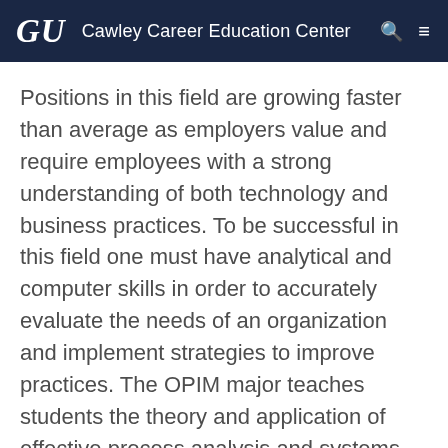GU  Cawley Career Education Center
Positions in this field are growing faster than average as employers value and require employees with a strong understanding of both technology and business practices. To be successful in this field one must have analytical and computer skills in order to accurately evaluate the needs of an organization and implement strategies to improve practices. The OPIM major teaches students the theory and application of effective process analysis and systems design and prepares them to apply these skills within organizations.